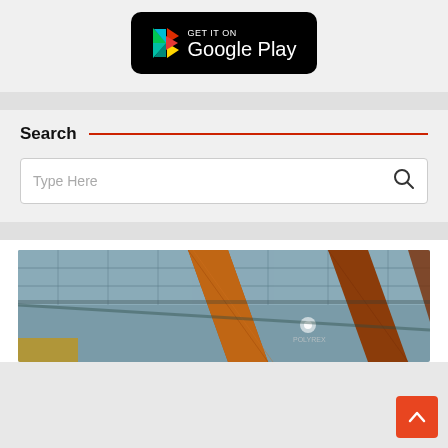[Figure (logo): GET IT ON Google Play badge — black rounded rectangle with colorful Google Play triangle logo on left and white text 'GET IT ON' above 'Google Play' on right]
Search
[Figure (screenshot): Search input box with placeholder text 'Type Here' and a magnifying glass search icon on the right]
[Figure (photo): Interior photo showing overhead wooden beams or surfboards in an industrial/warehouse space with metal roof structure and warm orange/brown tones]
[Figure (other): Orange/red back-to-top button with white upward arrow chevron, positioned bottom-right]